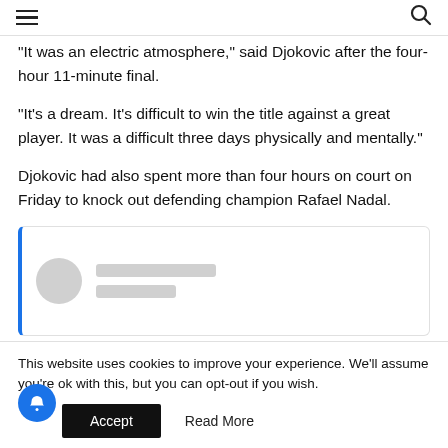menu search
“It was an electric atmosphere,” said Djokovic after the four-hour 11-minute final.
“It’s a dream. It’s difficult to win the title against a great player. It was a difficult three days physically and mentally.”
Djokovic had also spent more than four hours on court on Friday to knock out defending champion Rafael Nadal.
[Figure (other): Social media embed card placeholder with avatar circle and two gray loading text lines, with a blue left border.]
This website uses cookies to improve your experience. We’ll assume you’re ok with this, but you can opt-out if you wish.
Accept   Read More